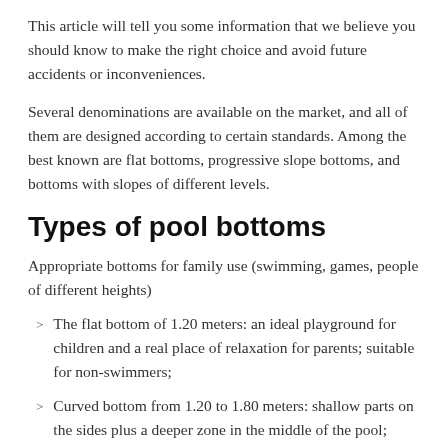This article will tell you some information that we believe you should know to make the right choice and avoid future accidents or inconveniences.
Several denominations are available on the market, and all of them are designed according to certain standards. Among the best known are flat bottoms, progressive slope bottoms, and bottoms with slopes of different levels.
Types of pool bottoms
Appropriate bottoms for family use (swimming, games, people of different heights)
The flat bottom of 1.20 meters: an ideal playground for children and a real place of relaxation for parents; suitable for non-swimmers;
Curved bottom from 1.20 to 1.80 meters: shallow parts on the sides plus a deeper zone in the middle of the pool; good solution for people who are afraid of water, children, or small people, and those who like to dive from